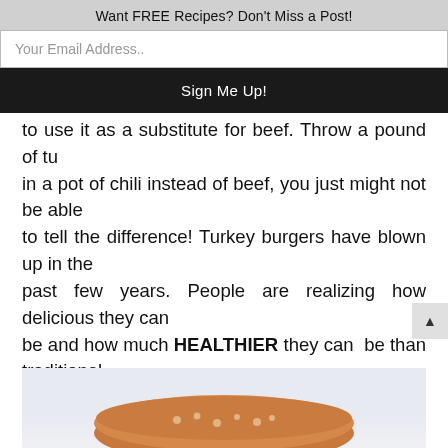Want FREE Recipes? Don't Miss a Post!
Your Email Address..
Sign Me Up!
to use it as a substitute for beef. Throw a pound of tu... in a pot of chili instead of beef, you just might not be able to tell the difference! Turkey burgers have blown up in the past few years. People are realizing how delicious they can be and how much HEALTHIER they can be than traditional beef burgers.
[Figure (photo): Partial photo of a turkey burger with a light blue/grey background, showing the top bun with sesame seeds visible at the bottom of the frame.]